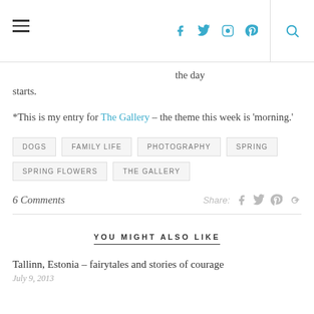Navigation header with hamburger menu, social icons (facebook, twitter, instagram, pinterest), and search icon
the day starts.
*This is my entry for The Gallery – the theme this week is 'morning.'
DOGS
FAMILY LIFE
PHOTOGRAPHY
SPRING
SPRING FLOWERS
THE GALLERY
6 Comments  Share:
YOU MIGHT ALSO LIKE
Tallinn, Estonia – fairytales and stories of courage
July 9, 2013